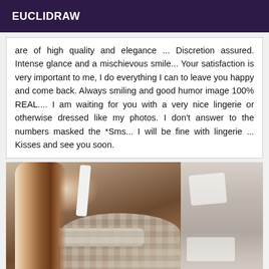EUCLIDRAW
are of high quality and elegance ... Discretion assured. Intense glance and a mischievous smile... Your satisfaction is very important to me, I do everything I can to leave you happy and come back. Always smiling and good humor image 100% REAL.... I am waiting for you with a very nice lingerie or otherwise dressed like my photos. I don't answer to the numbers masked the *Sms... I will be fine with lingerie ... Kisses and see you soon.
[Figure (photo): Photo of a person wearing white lingerie, partially censored with mosaic blur. Split image with a lighter toned background on the right side.]